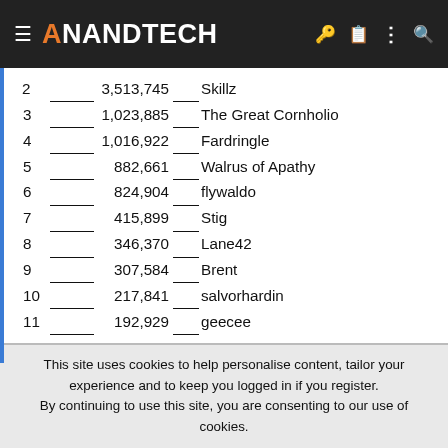AnandTech
| Rank | Score | Name |
| --- | --- | --- |
| 2 | 3,513,745 | Skillz |
| 3 | 1,023,885 | The Great Cornholio |
| 4 | 1,016,922 | Fardringle |
| 5 | 882,661 | Walrus of Apathy |
| 6 | 824,904 | flywaldo |
| 7 | 415,899 | Stig |
| 8 | 346,370 | Lane42 |
| 9 | 307,584 | Brent |
| 10 | 217,841 | salvorhardin |
| 11 | 192,929 | geecee |
| 12 | 92,035 | SuperTerra |
| 13 | 87,189 | Orange Kid |
| 14 | 79,590 | burninator34 |
| 15 | 64,708 | uallas5 |
This site uses cookies to help personalise content, tailor your experience and to keep you logged in if you register. By continuing to use this site, you are consenting to our use of cookies.